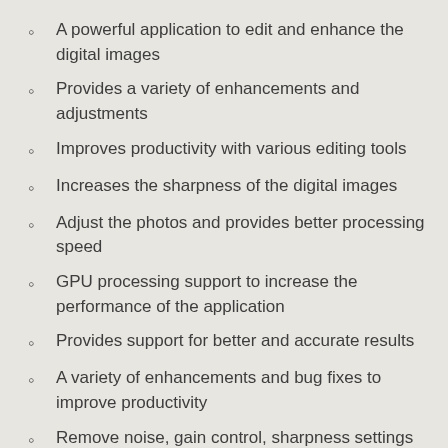A powerful application to edit and enhance the digital images
Provides a variety of enhancements and adjustments
Improves productivity with various editing tools
Increases the sharpness of the digital images
Adjust the photos and provides better processing speed
GPU processing support to increase the performance of the application
Provides support for better and accurate results
A variety of enhancements and bug fixes to improve productivity
Remove noise, gain control, sharpness settings and a lot more.